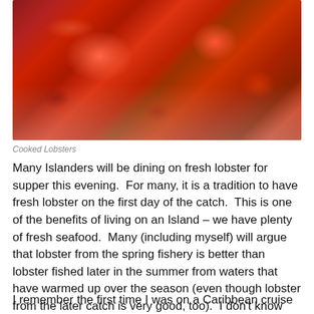[Figure (photo): Photo of cooked red lobsters piled together on a light surface, showing claws and bodies with characteristic bright red color from cooking.]
Cooked Lobsters
Many Islanders will be dining on fresh lobster for supper this evening.  For many, it is a tradition to have fresh lobster on the first day of the catch.  This is one of the benefits of living on an Island – we have plenty of fresh seafood.  Many (including myself) will argue that lobster from the spring fishery is better than lobster fished later in the summer from waters that have warmed up over the season (even though lobster from the later catch is very good, too).  I don't know why it is but lobster from the cold Atlantic water always does seem to taste better and I think even has a better texture meat.
I remember the first time I was on a Caribbean cruise many